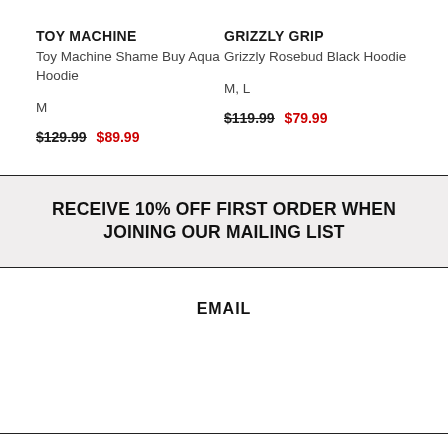TOY MACHINE
Toy Machine Shame Buy Aqua Hoodie
M
$129.99  $89.99
GRIZZLY GRIP
Grizzly Rosebud Black Hoodie
M, L
$119.99  $79.99
RECEIVE 10% OFF FIRST ORDER WHEN JOINING OUR MAILING LIST
EMAIL